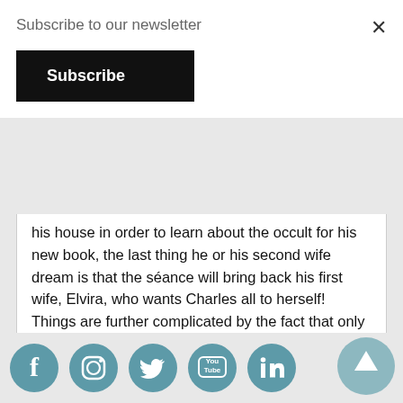Subscribe to our newsletter
Subscribe
his house in order to learn about the occult for his new book, the last thing he or his second wife dream is that the séance will bring back his first wife, Elvira, who wants Charles all to herself! Things are further complicated by the fact that only Charles can see her, which results in some hilarious exchanges and misunderstandings. Elvira's plots to get him to 'the other side' do not go to plan however, and instead of Charles dying in her contrived 'accident' his new wife does! Many consider this to be one of Coward's best and most unusual farces.
[Figure (infographic): Social media icons row: Facebook, Instagram, Twitter, YouTube, LinkedIn. Scroll-to-top button on the right.]